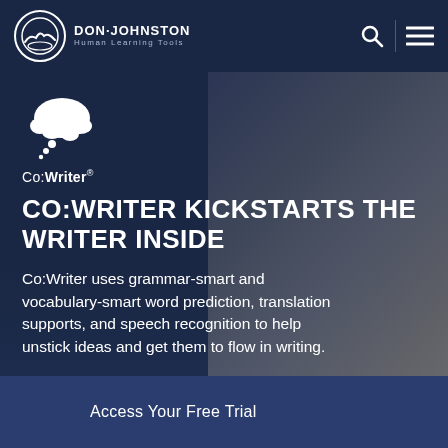DON·JOHNSTON Human Learning Tools
[Figure (logo): Co:Writer thought bubble logo icon in white]
Co:Writer®
CO:WRITER KICKSTARTS THE WRITER INSIDE
Co:Writer uses grammar-smart and vocabulary-smart word prediction, translation supports, and speech recognition to help unstick ideas and get them to flow in writing.
Access Your Free Trial